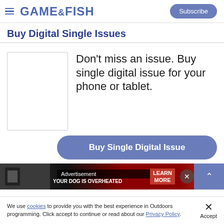GAME&FISH | Subscribe
Buy Digital Single Issues
Don't miss an issue. Buy single digital issue for your phone or tablet.
[Figure (other): Magazine cover placeholder (blank white rectangle with border)]
Buy Single Digital Issue
[Figure (photo): Advertisement banner with red background, photo on left, 'Advertisement' label, 'YOUR DOG IS OVERHEATED' text, LEARN MORE button]
We use cookies to provide you with the best experience in Outdoors programming. Click accept to continue or read about our Privacy Policy.